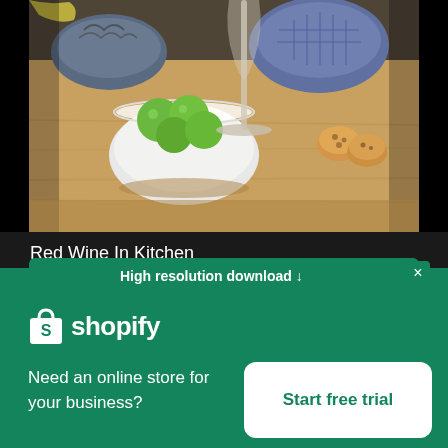[Figure (photo): Kitchen scene with a white bowl containing green limes/olives, a wine glass stem, blue ceramic bowls in background, cookies/biscuits, on a wooden surface]
Red Wine In Kitchen
High resolution download ↓
[Figure (logo): Shopify logo: shopping bag icon with 'shopify' text in white]
Need an online store for your business?
Start free trial